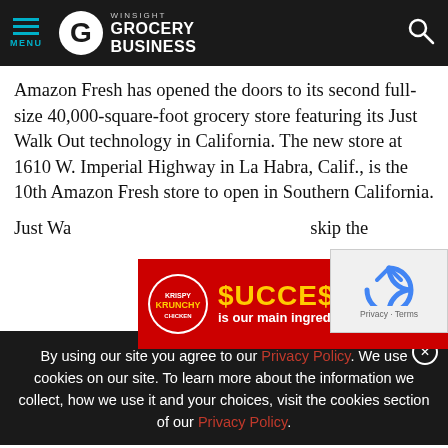MENU | Winsight GROCERY BUSINESS
Amazon Fresh has opened the doors to its second full-size 40,000-square-foot grocery store featuring its Just Walk Out technology in California. The new store at 1610 W. Imperial Highway in La Habra, Calif., is the 10th Amazon Fresh store to open in Southern California.
Just Wa[lk Out technology lets shoppers] skip the[...]
[Figure (advertisement): Krispy Krunchy Chicken advertisement: '$UCCE$$  is our main ingredient' on red background with food photo]
[Figure (other): reCAPTCHA widget with Privacy - Terms text]
By using our site you agree to our Privacy Policy. We use cookies on our site. To learn more about the information we collect, how we use it and your choices, visit the cookies section of our Privacy Policy.